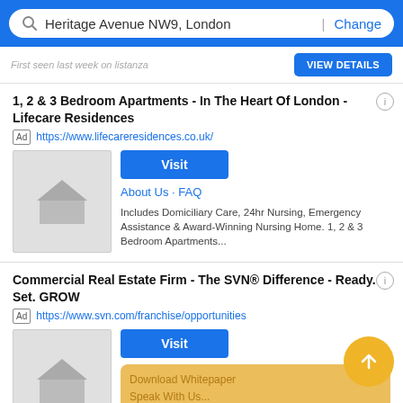Heritage Avenue NW9, London | Change
First seen last week on listanza
View Details
1, 2 & 3 Bedroom Apartments - In The Heart Of London - Lifecare Residences
Ad https://www.lifecareresidences.co.uk/
[Figure (illustration): Grey house/home placeholder thumbnail image]
Visit
About Us · FAQ
Includes Domiciliary Care, 24hr Nursing, Emergency Assistance & Award-Winning Nursing Home. 1, 2 & 3 Bedroom Apartments...
Commercial Real Estate Firm - The SVN® Difference - Ready. Set. GROW
Ad https://www.svn.com/franchise/opportunities
[Figure (illustration): Grey house/home placeholder thumbnail image]
Visit
Download Whitepaper
Speak With Us...
SVN's Value Proposition
Filter